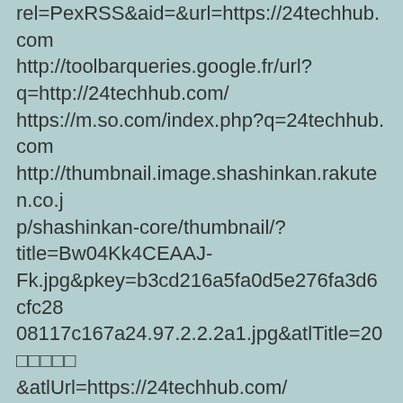rel=PexRSS&aid=&url=https://24techhub.com http://toolbarqueries.google.fr/url?q=http://24techhub.com/ https://m.so.com/index.php?q=24techhub.com http://thumbnail.image.shashinkan.rakuten.co.jp/shashinkan-core/thumbnail/?title=Bw04Kk4CEAAJ-Fk.jpg&pkey=b3cd216a5fa0d5e276fa3d6cfc2808117c167a24.97.2.2.2a1.jpg&atlTitle=20□□□□□&atlUrl=https://24techhub.com/ https://sd40.senate.ca.gov/sites/sd40.senate.ca.gov/files/outreach/Common/sd40-hueso-redirect.php?URL=https://24techhub.com https://escardio–